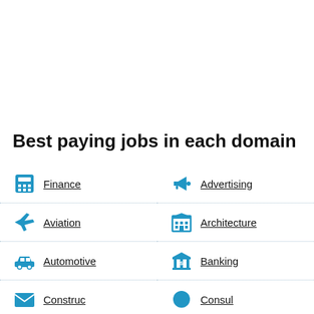Best paying jobs in each domain
Finance
Advertising
Aviation
Architecture
Automotive
Banking
Construction (partial)
Consulting (partial)